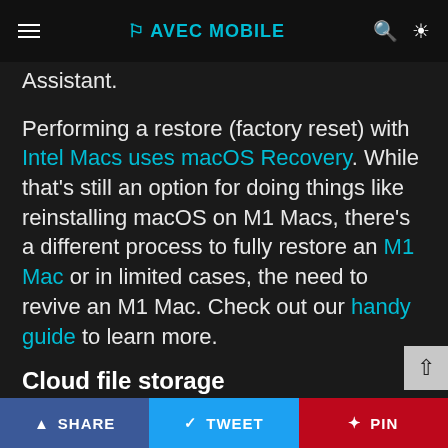AVEC MOBILE
Assistant.
Performing a restore (factory reset) with Intel Macs uses macOS Recovery. While that's still an option for doing things like reinstalling macOS on M1 Macs, there's a different process to fully restore an M1 Mac or in limited cases, the need to revive an M1 Mac. Check out our handy guide to learn more.
Cloud file storage
One of the biggest reasons to leverage cloud storage for files is that it speeds up the time to restore from a
SHARE  TWEET  PIN